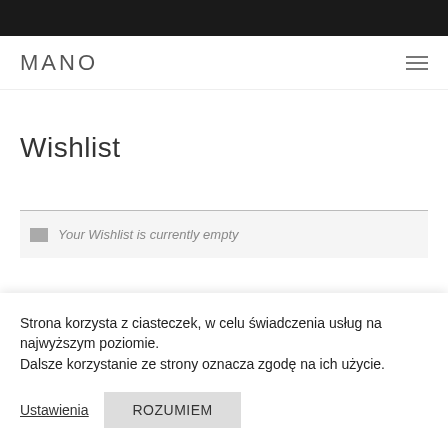MANO
Wishlist
Your Wishlist is currently empty
Strona korzysta z ciasteczek, w celu świadczenia usług na najwyższym poziomie.
Dalsze korzystanie ze strony oznacza zgodę na ich użycie.
Ustawienia
ROZUMIEM